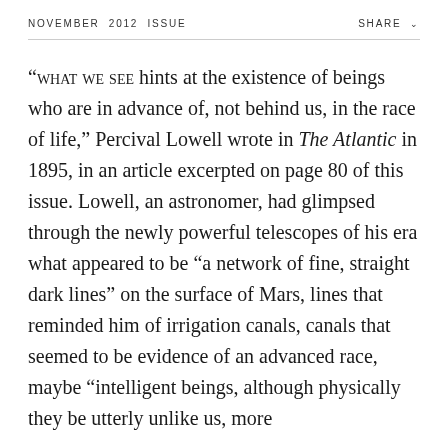NOVEMBER 2012 ISSUE    SHARE
“WHAT WE SEE hints at the existence of beings who are in advance of, not behind us, in the race of life,” Percival Lowell wrote in The Atlantic in 1895, in an article excerpted on page 80 of this issue. Lowell, an astronomer, had glimpsed through the newly powerful telescopes of his era what appeared to be “a network of fine, straight dark lines” on the surface of Mars, lines that reminded him of irrigation canals, canals that seemed to be evidence of an advanced race, maybe “intelligent beings, although physically they be utterly unlike us, more